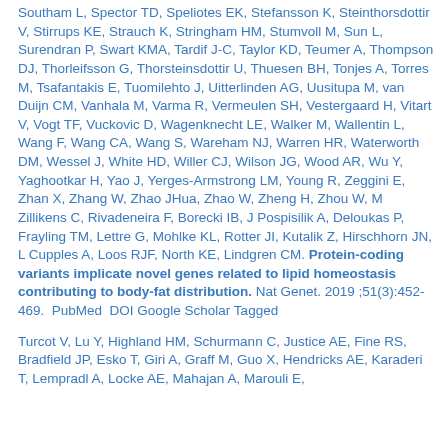Southam L, Spector TD, Speliotes EK, Stefansson K, Steinthorsdottir V, Stirrups KE, Strauch K, Stringham HM, Stumvoll M, Sun L, Surendran P, Swart KMA, Tardif J-C, Taylor KD, Teumer A, Thompson DJ, Thorleifsson G, Thorsteinsdottir U, Thuesen BH, Tonjes A, Torres M, Tsafantakis E, Tuomilehto J, Uitterlinden AG, Uusitupa M, van Duijn CM, Vanhala M, Varma R, Vermeulen SH, Vestergaard H, Vitart V, Vogt TF, Vuckovic D, Wagenknecht LE, Walker M, Wallentin L, Wang F, Wang CA, Wang S, Wareham NJ, Warren HR, Waterworth DM, Wessel J, White HD, Willer CJ, Wilson JG, Wood AR, Wu Y, Yaghootkar H, Yao J, Yerges-Armstrong LM, Young R, Zeggini E, Zhan X, Zhang W, Zhao JHua, Zhao W, Zheng H, Zhou W, M Zillikens C, Rivadeneira F, Borecki IB, J Pospisilik A, Deloukas P, Frayling TM, Lettre G, Mohlke KL, Rotter JI, Kutalik Z, Hirschhorn JN, L Cupples A, Loos RJF, North KE, Lindgren CM. Protein-coding variants implicate novel genes related to lipid homeostasis contributing to body-fat distribution. Nat Genet. 2019 ;51(3):452-469.  PubMed  DOI Google Scholar Tagged
Turcot V, Lu Y, Highland HM, Schurmann C, Justice AE, Fine RS, Bradfield JP, Esko T, Giri A, Graff M, Guo X, Hendricks AE, Karaderi T, Lempradl A, Locke AE, Mahajan A, Marouli E,